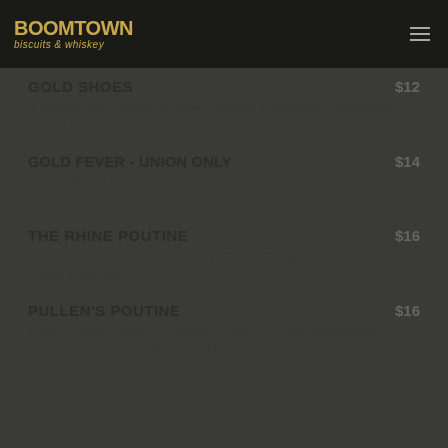Boomtown Biscuits & Whiskey
GOLD SHOES
$12
3 Biscuits and a choice of gravy- Sawmill, Peppercorn , Mushroom, or Goetta Gravy
GOLD FEVER - UNION ONLY
$14
Buffalo Mac & Cheese, Fried Chicken, Bleu Cheese, Bacon, Biscuit Crumb, Scallion
THE RHINE POUTINE
$16
Yukon Poatoes, Smoked Cheddar, Geotta Gravy, Seared Slab O' Goetta | add egg +2
PULLEN'S POUTINE
$16
Yukon Potatos, Sauteed Poblano Peppers, Crimini Mushrooms, Mushroom Gravy, Smoked Cheddar |